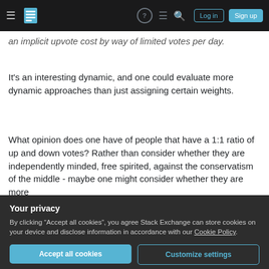Stack Exchange navigation bar with hamburger menu, logo, help, chat, search icons, Log in and Sign up buttons
an implicit upvote cost by way of limited votes per day.
It's an interesting dynamic, and one could evaluate more dynamic approaches than just assigning certain weights.
What opinion does one have of people that have a 1:1 ratio of up and down votes? Rather than consider whether they are independently minded, free spirited, against the conservatism of the middle - maybe one might consider whether they are more
Your privacy
By clicking “Accept all cookies”, you agree Stack Exchange can store cookies on your device and disclose information in accordance with our Cookie Policy.
Accept all cookies
Customize settings
It is important to design your community and site like this...